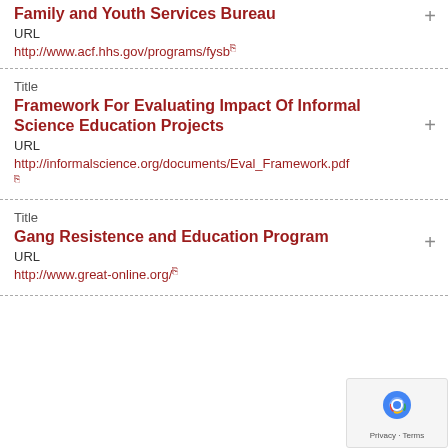Family and Youth Services Bureau
URL
http://www.acf.hhs.gov/programs/fysb
Title
Framework For Evaluating Impact Of Informal Science Education Projects
URL
http://informalscience.org/documents/Eval_Framework.pdf
Title
Gang Resistence and Education Program
URL
http://www.great-online.org/